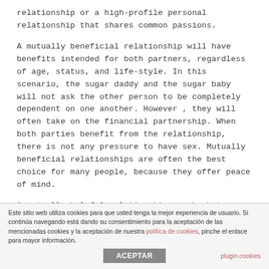relationship or a high-profile personal relationship that shares common passions.
A mutually beneficial relationship will have benefits intended for both partners, regardless of age, status, and life-style. In this scenario, the sugar daddy and the sugar baby will not ask the other person to be completely dependent on one another. However , they will often take on the financial partnership. When both parties benefit from the relationship, there is not any pressure to have sex. Mutually beneficial relationships are often the best choice for many people, because they offer peace of mind.
A mutually helpful relationship may be between
Este sitio web utiliza cookies para que usted tenga la mejor experiencia de usuario. Si continúa navegando está dando su consentimiento para la aceptación de las mencionadas cookies y la aceptación de nuestra política de cookies, pinche el enlace para mayor información.